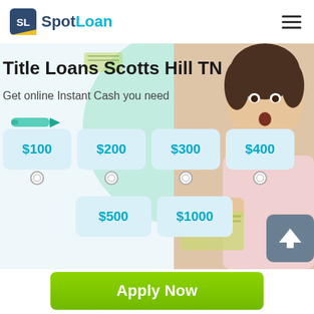[Figure (logo): SpotLoan logo with teal SL icon and hamburger menu]
Title Loans Scotts Hill TN
Get online Instant Cash you need
[Figure (infographic): Loan amount selector with options $100, $200, $300, $400, $500, $1000 shown as teal buttons with radio selectors, overlaid on hero image of woman with cash]
[Figure (other): Green Apply Now button]
Applying does NOT affect your credit score! No credit check to apply.